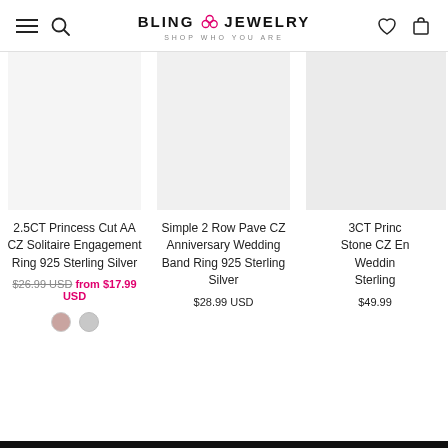BLING JEWELRY — SHOP WHO YOU ARE
[Figure (photo): Product image area for 2.5CT Princess Cut AA CZ Solitaire Engagement Ring 925 Sterling Silver (blank/placeholder)]
2.5CT Princess Cut AA CZ Solitaire Engagement Ring 925 Sterling Silver
$26.99 USD  from $17.99 USD
[Figure (photo): Product image area for Simple 2 Row Pave CZ Anniversary Wedding Band Ring 925 Sterling Silver (blank/placeholder)]
Simple 2 Row Pave CZ Anniversary Wedding Band Ring 925 Sterling Silver
$28.99 USD
[Figure (photo): Product image area for 3CT Princess Cut Stone CZ Engagement Wedding Ring Sterling Silver (partial, cut off)]
3CT Princ Stone CZ En Weddin Sterling
$49.99